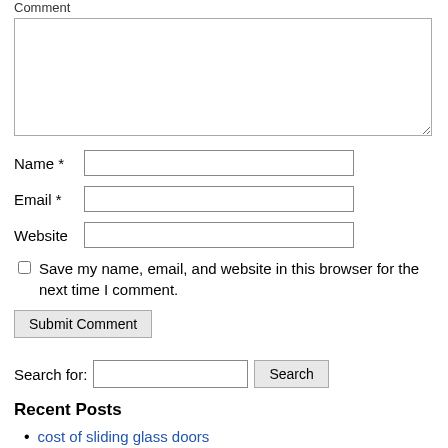Comment
Name *
Email *
Website
Save my name, email, and website in this browser for the next time I comment.
Submit Comment
Search for:
Recent Posts
cost of sliding glass doors